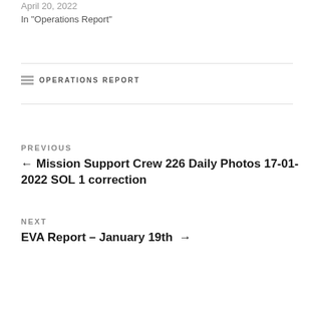April 20, 2022
In "Operations Report"
OPERATIONS REPORT
PREVIOUS
← Mission Support Crew 226 Daily Photos 17-01-2022 SOL 1 correction
NEXT
EVA Report – January 19th →